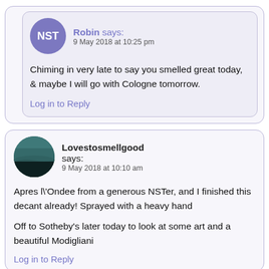Robin says: 9 May 2018 at 10:25 pm
Chiming in very late to say you smelled great today, & maybe I will go with Cologne tomorrow.
Log in to Reply
Lovestosmellgood says: 9 May 2018 at 10:10 am
Apres l\'Ondee from a generous NSTer, and I finished this decant already! Sprayed with a heavy hand
Off to Sotheby's later today to look at some art and a beautiful Modigliani
Log in to Reply